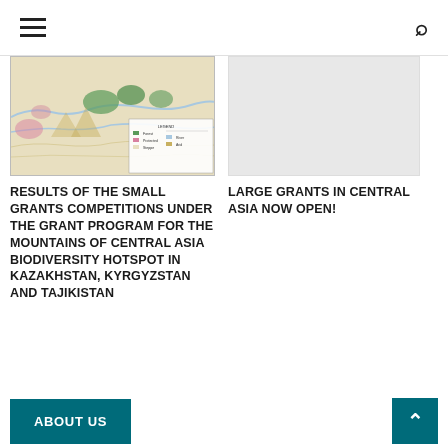Navigation header with hamburger menu and search icon
[Figure (map): Topographic/geographic map of Central Asia mountain region showing terrain, rivers, and land classifications with legend]
RESULTS OF THE SMALL GRANTS COMPETITIONS UNDER THE GRANT PROGRAM FOR THE MOUNTAINS OF CENTRAL ASIA BIODIVERSITY HOTSPOT IN KAZAKHSTAN, KYRGYZSTAN AND TAJIKISTAN
[Figure (photo): Gray placeholder image for Large Grants in Central Asia article]
LARGE GRANTS IN CENTRAL ASIA NOW OPEN!
ABOUT US | Up arrow button